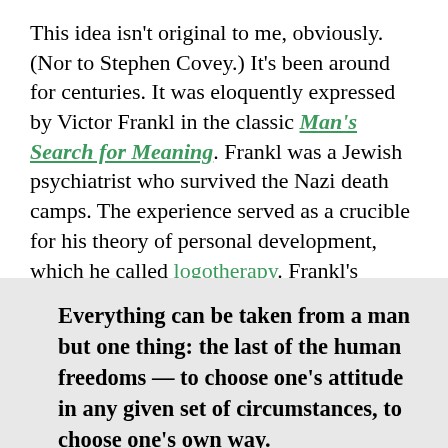This idea isn't original to me, obviously. (Nor to Stephen Covey.) It's been around for centuries. It was eloquently expressed by Victor Frankl in the classic Man's Search for Meaning. Frankl was a Jewish psychiatrist who survived the Nazi death camps. The experience served as a crucible for his theory of personal development, which he called logotherapy. Frankl's philosophy, in a nutshell, is that:
Everything can be taken from a man but one thing: the last of the human freedoms — to choose one's attitude in any given set of circumstances, to choose one's own way.